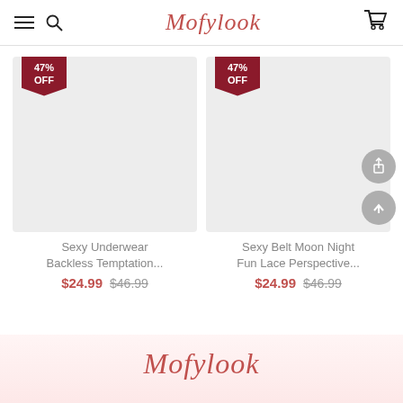Mofylook
[Figure (other): Product image placeholder with 47% OFF badge — Sexy Underwear Backless Temptation]
Sexy Underwear Backless Temptation...
$24.99  $46.99
[Figure (other): Product image placeholder with 47% OFF badge — Sexy Belt Moon Night Fun Lace Perspective, with share and scroll-to-top action buttons]
Sexy Belt Moon Night Fun Lace Perspective...
$24.99  $46.99
Mofylook